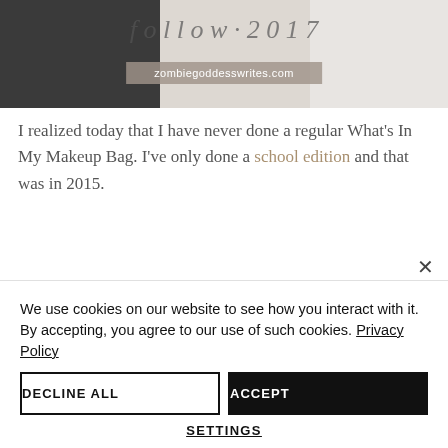[Figure (photo): Blog post header image with cursive title text and watermark 'zombiegoddesswrites.com' on a beige/grey background]
I realized today that I have never done a regular What's In My Makeup Bag. I've only done a school edition and that was in 2015.
I've never done a post about my o... makeup. I thought that today I should change that. So I decided that today I'd
We use cookies on our website to see how you interact with it. By accepting, you agree to our use of such cookies. Privacy Policy
DECLINE ALL
ACCEPT
SETTINGS